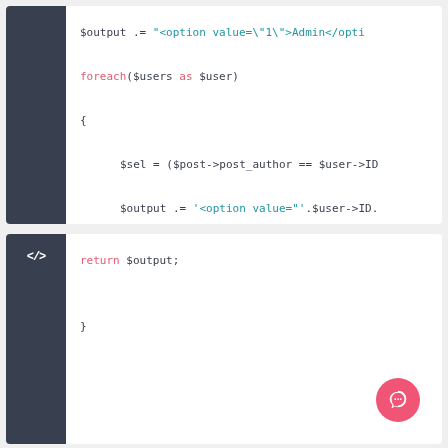[Figure (screenshot): Code block showing PHP code: $output .= "<option value=\"1\">Admin</opti, foreach($users as $user), {, $sel = ($post->post_author == $user->ID, $output .= '<option value="'.$user->ID., }]
[Figure (screenshot): Code block showing PHP code: return $output;, }]